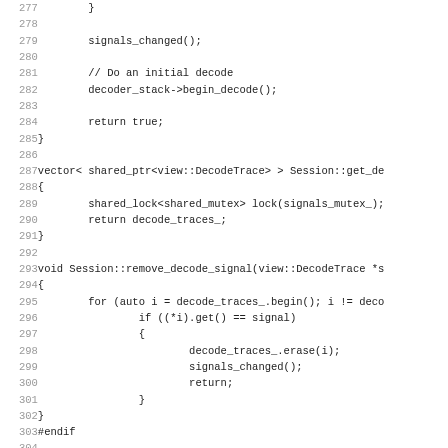Code listing lines 277-308 showing C++ source code for Session class methods including get_decode_traces, remove_decode_signal, and set_capture_state